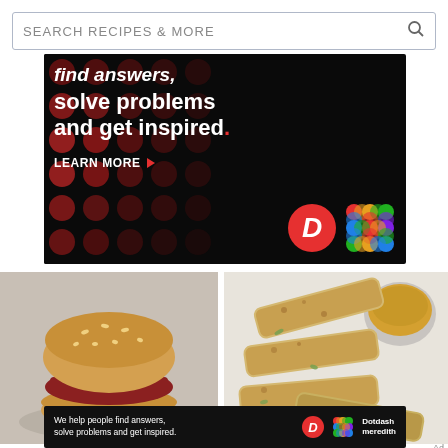[Figure (screenshot): Search bar with text SEARCH RECIPES & MORE and a magnifying glass icon on the right]
[Figure (screenshot): Advertisement banner with dark background and red polka dots. Text reads: find answers, solve problems and get inspired. LEARN MORE button with arrow. Dotdash and Meredith logos shown.]
[Figure (photo): Photo of a fried chicken sandwich on a sesame bun with lettuce and sauce]
[Figure (photo): Photo of breaded chicken strips or flatbread pieces with a dipping sauce and herbs]
Ad
[Figure (screenshot): Bottom advertisement banner: We help people find answers, solve problems and get inspired. Dotdash D logo and colorful Meredith logo with Dotdash meredith text.]